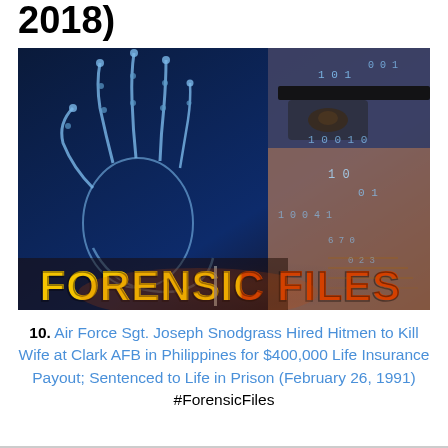2018)
[Figure (photo): Forensic Files TV show promotional image with a glowing digital hand skeleton on blue background with binary code, a woman in glasses on the right side, and 'FORENSIC FILES' text in bold yellow and red letters in the center]
10. Air Force Sgt. Joseph Snodgrass Hired Hitmen to Kill Wife at Clark AFB in Philippines for $400,000 Life Insurance Payout; Sentenced to Life in Prison (February 26, 1991) #ForensicFiles